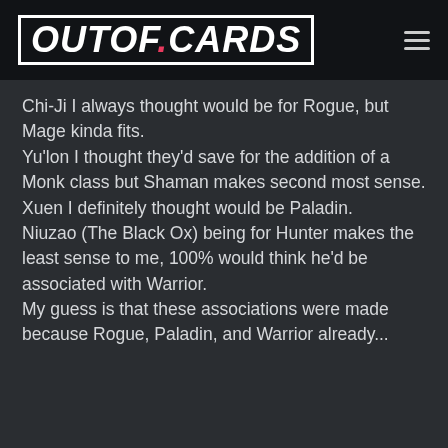OUTOF.CARDS
Chi-Ji I always thought would be for Rogue, but Mage kinda fits.
Yu'lon I thought they'd save for the addition of a Monk class but Shaman makes second most sense.
Xuen I definitely thought would be Paladin.
Niuzao (The Black Ox) being for Hunter makes the least sense to me, 100% would think he'd be associated with Warrior.
My guess is that these associations were made because Rogue, Paladin, and Warrior already...